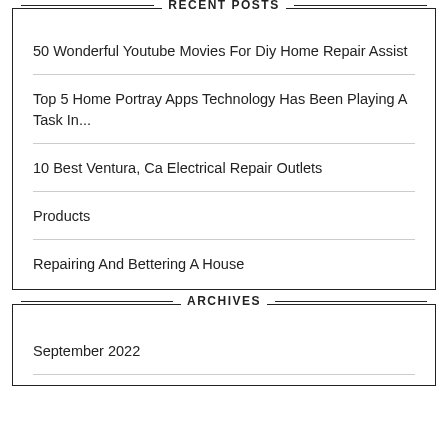RECENT POSTS
50 Wonderful Youtube Movies For Diy Home Repair Assist
Top 5 Home Portray Apps Technology Has Been Playing A Task In...
10 Best Ventura, Ca Electrical Repair Outlets
Products
Repairing And Bettering A House
ARCHIVES
September 2022